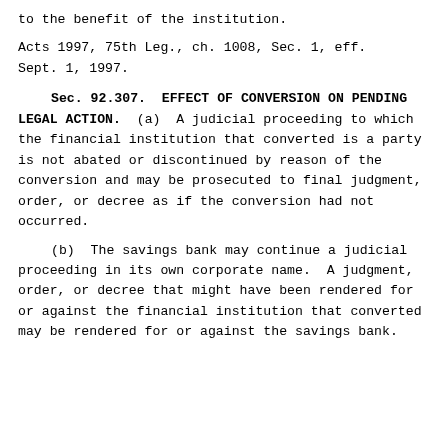to the benefit of the institution.
Acts 1997, 75th Leg., ch. 1008, Sec. 1, eff. Sept. 1, 1997.
Sec. 92.307. EFFECT OF CONVERSION ON PENDING LEGAL ACTION. (a) A judicial proceeding to which the financial institution that converted is a party is not abated or discontinued by reason of the conversion and may be prosecuted to final judgment, order, or decree as if the conversion had not occurred. (b) The savings bank may continue a judicial proceeding in its own corporate name. A judgment, order, or decree that might have been rendered for or against the financial institution that converted may be rendered for or against the savings bank.